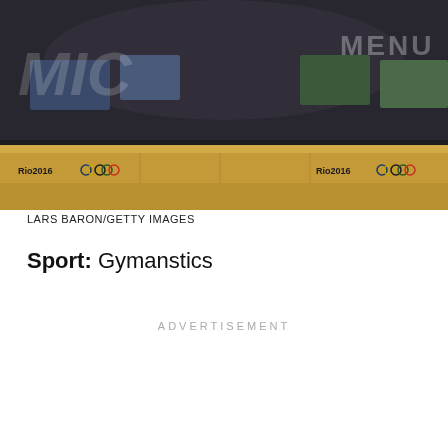[Figure (photo): A gymnastics arena at Rio 2016 Olympics, showing gymnastic equipment with stadium seating and Olympic branding. Dark/evening lighting. MIC logo and MENU text visible as overlay.]
LARS BARON/GETTY IMAGES
Sport: Gymanstics
ADVERTISEMENT